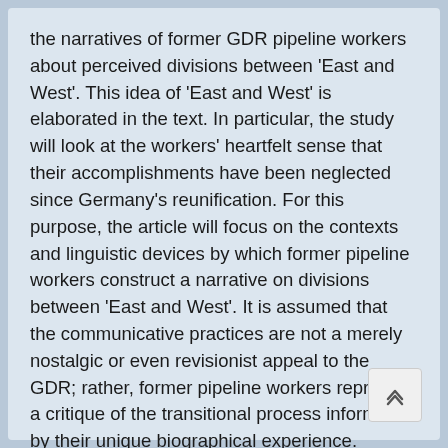the narratives of former GDR pipeline workers about perceived divisions between 'East and West'. This idea of 'East and West' is elaborated in the text. In particular, the study will look at the workers' heartfelt sense that their accomplishments have been neglected since Germany's reunification. For this purpose, the article will focus on the contexts and linguistic devices by which former pipeline workers construct a narrative on divisions between 'East and West'. It is assumed that the communicative practices are not a merely nostalgic or even revisionist appeal to the GDR; rather, former pipeline workers represent a critique of the transitional process informed by their unique biographical experience.